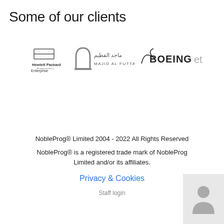Some of our clients
[Figure (logo): Hewlett Packard Enterprise logo, Majid Al Futtaim logo, Boeing logo, followed by 'et' text indicating more clients]
NobleProg® Limited 2004 - 2022 All Rights Reserved
NobleProg® is a registered trade mark of NobleProg Limited and/or its affiliates.
Privacy & Cookies
Staff login